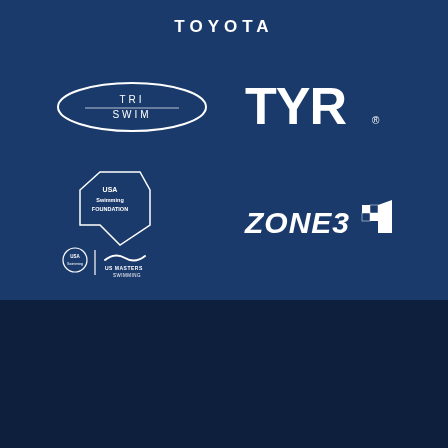[Figure (logo): TOYOTA text logo in white on dark blue background]
[Figure (logo): TRI SWIM oval logo in white outline on dark blue]
[Figure (logo): TYR logo in large white bold text on dark blue]
[Figure (logo): USA Swimming Foundation shield logo and USA / US Masters Swimming combined logo in white]
[Figure (logo): ZONE3 logo with checkered flag element in white on dark blue]
About USMS
Pool and Open Water Events
What is Masters Swimming?
COVID-19 Resources
Organization
Calendar of Events
COVID-19 Event